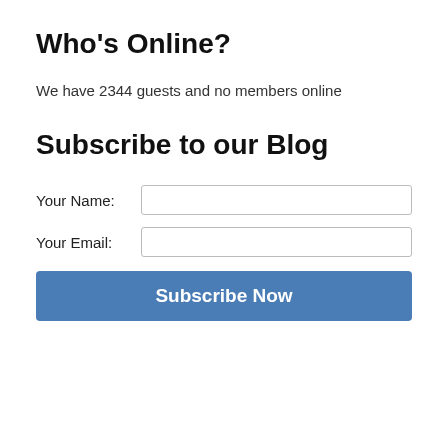Who's Online?
We have 2344 guests and no members online
Subscribe to our Blog
Your Name:
Your Email:
Subscribe Now